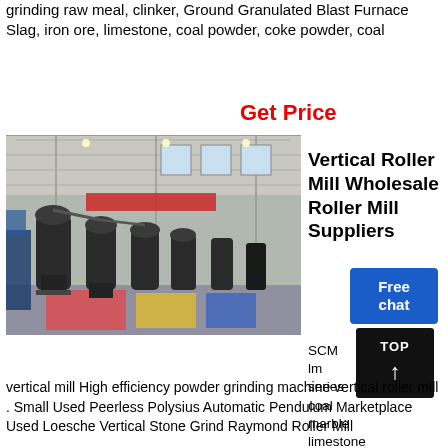grinding raw meal, clinker, Ground Granulated Blast Furnace Slag, iron ore, limestone, coal powder, coke powder, coal
Get Price
[Figure (photo): Interior of a large industrial factory hall with vertical roller mills and other heavy grinding machinery on a colorful floor (red, yellow, blue markings), with high ceiling and large windows.]
Vertical Roller Mill Wholesale Roller Mill Suppliers
Free chat
TOP
SCM lm series coal marble limestone roller
vertical mill High efficiency powder grinding machine vertical roller mill . Small Used Peerless Polysius Automatic Pendulum Marketplace Used Loesche Vertical Stone Grind Raymond Roller Mill